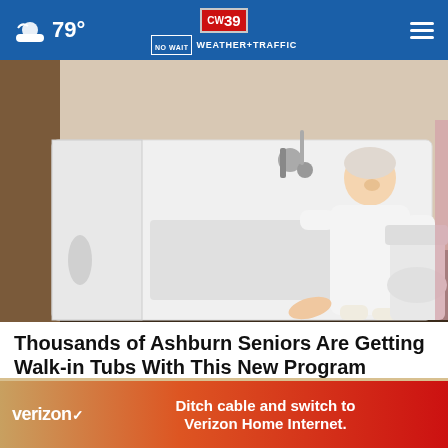79° CW39 NO WAIT WEATHER+TRAFFIC ≡
[Figure (photo): Elderly woman in white robe sitting in a white walk-in bathtub, smiling, in a bathroom setting with toilet visible on the right side.]
Thousands of Ashburn Seniors Are Getting Walk-in Tubs With This New Program
Smart Consumer Update
[Figure (screenshot): Verizon advertisement banner: 'Ditch cable and switch to Verizon Home Internet.' with Verizon logo on gradient red-orange background.]